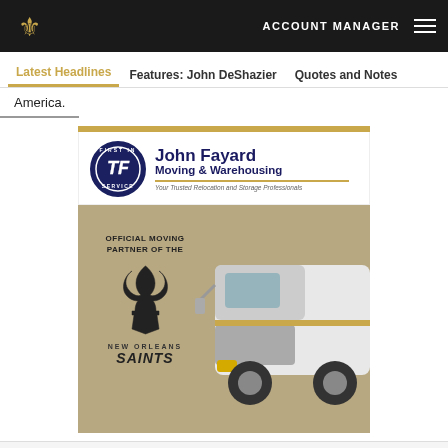ACCOUNT MANAGER
Latest Headlines | Features: John DeShazier | Quotes and Notes
America.
[Figure (photo): John Fayard Moving & Warehousing advertisement. Logo with blue circle 'First In Service' emblem and company name. Below is a Saints branded ad showing 'OFFICIAL MOVING PARTNER OF THE NEW ORLEANS SAINTS' with a fleur-de-lis logo and a white moving truck.]
Social share icons: Facebook, Twitter, Email, Link